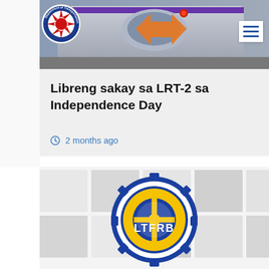[Figure (screenshot): Top banner showing a purple/silver LRT-2 train front with an orange arrow logo in the center, on a light background. A circular DOTr logo is in the upper left corner. A hamburger menu icon is in the upper right.]
Libreng sakay sa LRT-2 sa Independence Day
2 months ago
[Figure (logo): LTFRB (Land Transportation Franchising & Regulatory Board) circular logo with blue gear border, yellow and blue design, partially visible at bottom of page.]